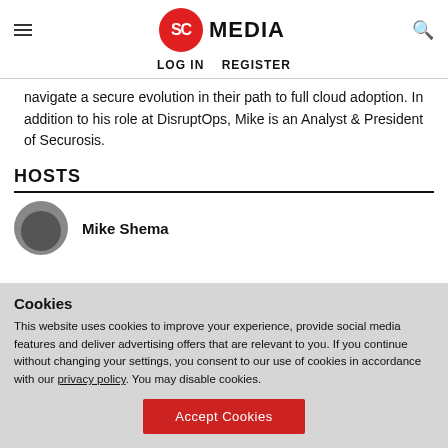SC MEDIA
LOG IN   REGISTER
navigate a secure evolution in their path to full cloud adoption. In addition to his role at DisruptOps, Mike is an Analyst & President of Securosis.
HOSTS
[Figure (photo): Circular avatar photo of Mike Shema]
Mike Shema
Cookies
This website uses cookies to improve your experience, provide social media features and deliver advertising offers that are relevant to you. If you continue without changing your settings, you consent to our use of cookies in accordance with our privacy policy. You may disable cookies.